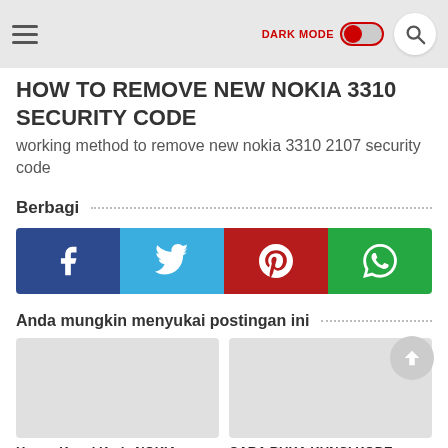Navigation bar with hamburger menu, DARK MODE toggle, and search button
HOW TO REMOVE NEW NOKIA 3310 SECURITY CODE
working method to remove new nokia 3310 2107 security code
Berbagi
[Figure (infographic): Four social share buttons: Facebook (dark blue), Twitter (light blue), Pinterest (dark red), WhatsApp (green)]
Anda mungkin menyukai postingan ini
Hapus Kunci Kode NOKIA
CARA BUKA KUNCI KODE